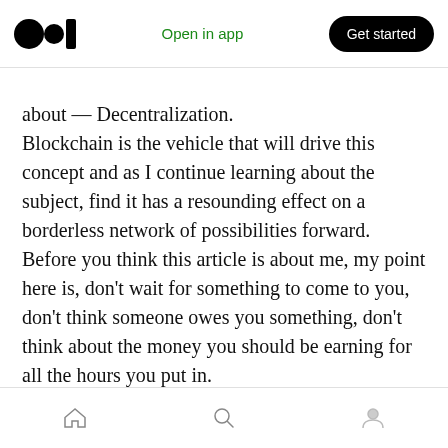Open in app | Get started
about — Decentralization. Blockchain is the vehicle that will drive this concept and as I continue learning about the subject, find it has a resounding effect on a borderless network of possibilities forward. Before you think this article is about me, my point here is, don't wait for something to come to you, don't think someone owes you something, don't think about the money you should be earning for all the hours you put in.

Rather think about the contribution you want to
Home | Search | Profile